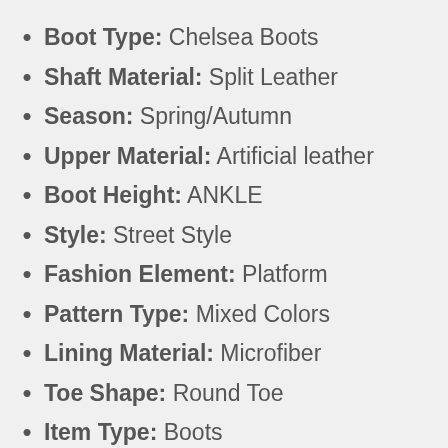Boot Type: Chelsea Boots
Shaft Material: Split Leather
Season: Spring/Autumn
Upper Material: Artificial leather
Boot Height: ANKLE
Style: Street Style
Fashion Element: Platform
Pattern Type: Mixed Colors
Lining Material: Microfiber
Toe Shape: Round Toe
Item Type: Boots
Insole Material: PU
Outsole Material: Rubber
Heel Height: Med (3cm-5cm)